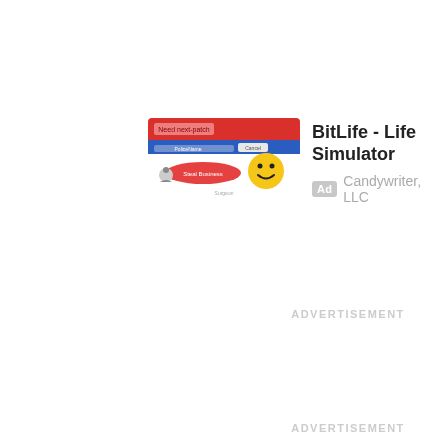[Figure (screenshot): App advertisement card for BitLife - Life Simulator by Candywriter, LLC. Shows a screenshot thumbnail of the app with red/blue UI elements and a smiley face emoji, followed by the app title, Ad badge, and company name.]
ADVERTISEMENT
ADVERTISEMENT